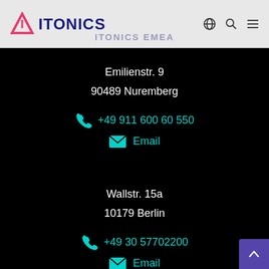ITONICS — ITONICS EMEA
Emilienstr. 9
90489 Nuremberg
+49 911 600 60 550
Email
Wallstr. 15a
10179 Berlin
+49 30 57702200
Email